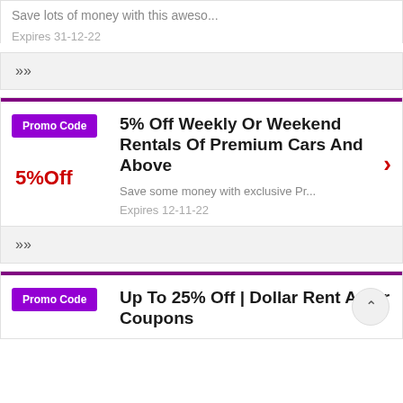Save lots of money with this aweso...
Expires 31-12-22
>>
Promo Code
5% Off Weekly Or Weekend Rentals Of Premium Cars And Above
5%Off
Save some money with exclusive Pr...
Expires 12-11-22
>>
Promo Code
Up To 25% Off | Dollar Rent A Car Coupons